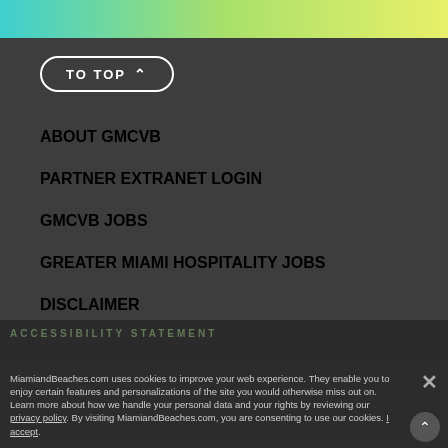[Figure (other): Teal to yellow-green gradient decorative bar at top of page]
TO TOP ∧
ABOUT GMCVB
PARTNER EXTRANET LOGIN
GMCVB JOBS
GREATER MIAMI HOSPITALITY JOBS
DISCLAIMER
VIEW OUR PRIVACY POLICY
ACCESSIBILITY STATEMENT
MiamiandBeaches.com uses cookies to improve your web experience. They enable you to enjoy certain features and personalizations of the site you would otherwise miss out on. Learn more about how we handle your personal data and your rights by reviewing our privacy policy. By visiting MiamiandBeaches.com, you are consenting to use our cookies. I accept.